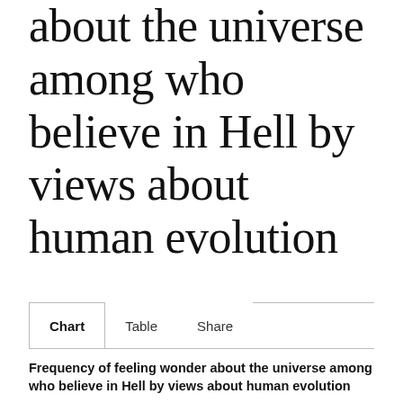about the universe among who believe in Hell by views about human evolution
Chart  Table  Share
Frequency of feeling wonder about the universe among who believe in Hell by views about human evolution